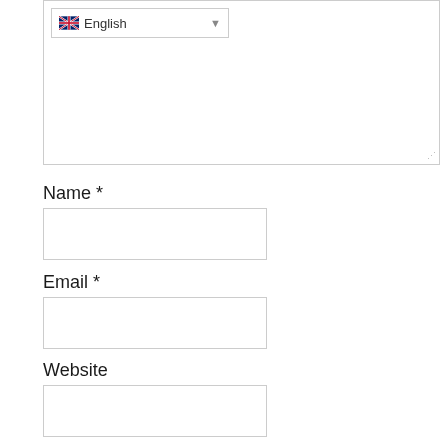[Figure (screenshot): Language selector dropdown showing UK flag and 'English' text with dropdown arrow]
Name *
[Figure (screenshot): Empty text input field for Name]
Email *
[Figure (screenshot): Empty text input field for Email]
Website
[Figure (screenshot): Empty text input field for Website]
[Figure (screenshot): Black button labeled POST COMMENT in white uppercase letters]
[Figure (photo): Advertisement banner with dark forest background showing a bird, text: Just $2 can protect 1 acre of irreplaceable forest homes in the Amazon. How many acres are you willing to protect? PROTECT FORESTS NOW button]